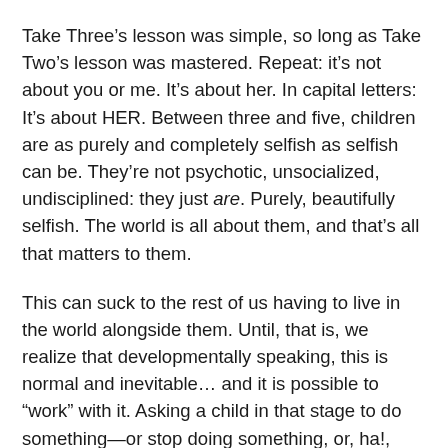Take Three’s lesson was simple, so long as Take Two’s lesson was mastered. Repeat: it’s not about you or me. It’s about her. In capital letters: It’s about HER. Between three and five, children are as purely and completely selfish as selfish can be. They’re not psychotic, unsocialized, undisciplined: they just are. Purely, beautifully selfish. The world is all about them, and that’s all that matters to them.
This can suck to the rest of us having to live in the world alongside them. Until, that is, we realize that developmentally speaking, this is normal and inevitable… and it is possible to “work” with it. Asking a child in that stage to do something—or stop doing something, or, ha!, feeling something—because of the effect it has on other people is a recipe for frustration. They can’t comply: they don’t hear you. Oh, they can learn to fake complicity